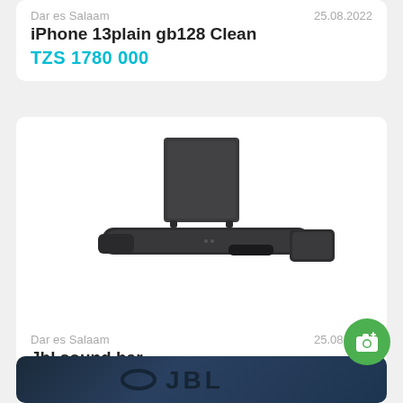Dar es Salaam | 25.08.2022
iPhone 13plain gb128 Clean
TZS 1780 000
[Figure (photo): JBL sound bar system with subwoofer, main soundbar, remote control, and satellite speaker]
Dar es Salaam | 25.08.2022
Jbl sound bar
TZS 2 800 000
[Figure (photo): Partial view of a JBL speaker product, dark blue/grey surface with JBL logo embossed]